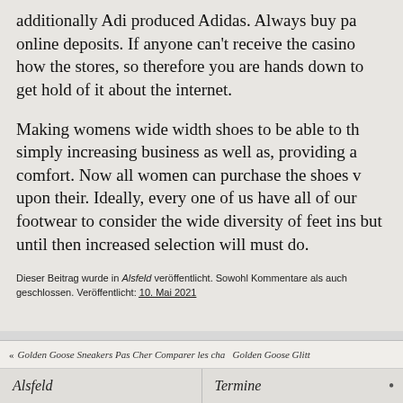additionally Adi produced Adidas. Always buy pa online deposits. If anyone can't receive the casino how the stores, so therefore you are hands down to get hold of it about the internet.
Making womens wide width shoes to be able to th simply increasing business as well as, providing a comfort. Now all women can purchase the shoes v upon their. Ideally, every one of us have all of our footwear to consider the wide diversity of feet ins but until then increased selection will must do.
Dieser Beitrag wurde in Alsfeld veröffentlicht. Sowohl Kommentare als auch geschlossen. Veröffentlicht: 10. Mai 2021
« Golden Goose Sneakers Pas Cher Comparer les cha  Golden Goose Glitt
Alsfeld    Termine